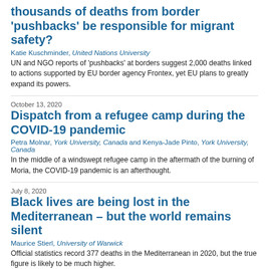thousands of deaths from border 'pushbacks' be responsible for migrant safety?
Katie Kuschminder, United Nations University
UN and NGO reports of 'pushbacks' at borders suggest 2,000 deaths linked to actions supported by EU border agency Frontex, yet EU plans to greatly expand its powers.
October 13, 2020
Dispatch from a refugee camp during the COVID-19 pandemic
Petra Molnar, York University, Canada and Kenya-Jade Pinto, York University, Canada
In the middle of a windswept refugee camp in the aftermath of the burning of Moria, the COVID-19 pandemic is an afterthought.
July 8, 2020
Black lives are being lost in the Mediterranean – but the world remains silent
Maurice Stierl, University of Warwick
Official statistics record 377 deaths in the Mediterranean in 2020, but the true figure is likely to be much higher.